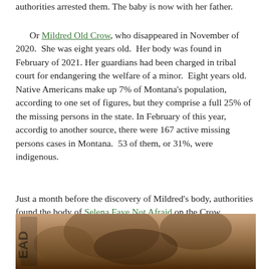authorities arrested them. The baby is now with her father.
Or Mildred Old Crow, who disappeared in November of 2020.  She was eight years old.  Her body was found in February of 2021. Her guardians had been charged in tribal court for endangering the welfare of a minor.  Eight years old.  Native Americans make up 7% of Montana's population, according to one set of figures, but they comprise a full 25% of the missing persons in the state. In February of this year, accordig to another source, there were 167 active missing persons cases in Montana.  53 of them, or 31%, were indigenous.
Just a month before the discovery of Mildred's body, authorities found the body of Selena Faye Not Afraid on the Crow Reservation. She was
[Figure (photo): Partial photo, darkened image showing what appears to be a person or figure, partially cut off at bottom of page]